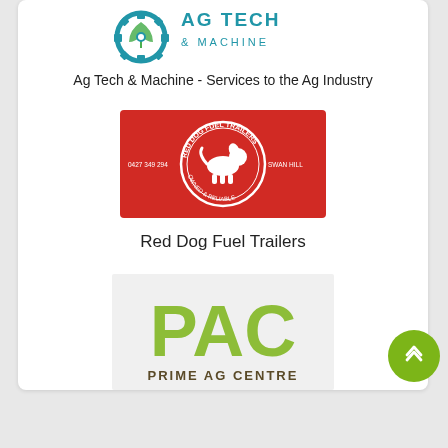[Figure (logo): Ag Tech & Machine logo - gear with leaf/circuit board design and text AG TECH & MACHINE in teal]
Ag Tech & Machine - Services to the Ag Industry
[Figure (logo): Red Dog Fuel Trailers logo - red rectangular badge with circular emblem showing a dog silhouette, text RED DOG FUEL TRAILERS, phone number 0427 349 294, SWAN HILL, OWNED & OPERATED]
Red Dog Fuel Trailers
[Figure (logo): Prime Ag Centre (PAC) logo - large green PAC text with PRIME AG CENTRE below in brown/dark text]
Prime Ag Centre (PAC)